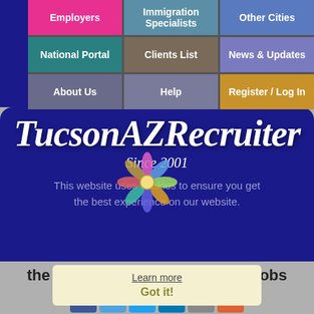[Figure (screenshot): Navigation menu grid with colored cells: Employers (pink), Immigration Specialists (teal-blue), Other Cities (blue), National Portal (teal), Clients List (brownish), News & Updates (purple-blue), About Us (slate), Help (slate-blue), Register/Log In (golden)]
TucsonAZRecruiter
Since 2001
This website uses cookies to ensure you get the best experience on our website.
the smart solution for Tucson jobs
Got it!